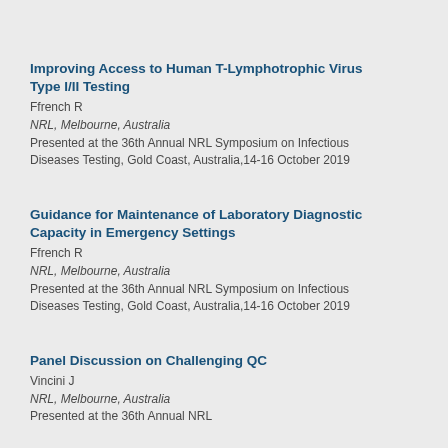Improving Access to Human T-Lymphotrophic Virus Type I/II Testing
Ffrench R
NRL, Melbourne, Australia
Presented at the 36th Annual NRL Symposium on Infectious Diseases Testing, Gold Coast, Australia,14-16 October 2019
Guidance for Maintenance of Laboratory Diagnostic Capacity in Emergency Settings
Ffrench R
NRL, Melbourne, Australia
Presented at the 36th Annual NRL Symposium on Infectious Diseases Testing, Gold Coast, Australia,14-16 October 2019
Panel Discussion on Challenging QC
Vincini J
NRL, Melbourne, Australia
Presented at the 36th Annual NRL